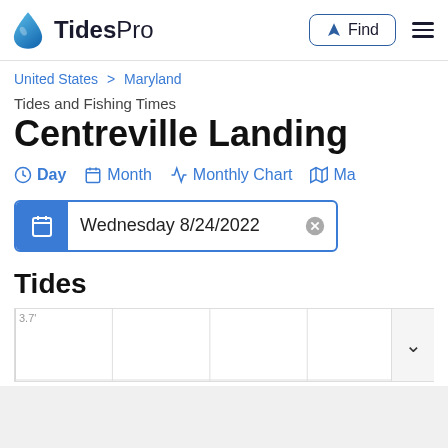TidesPro — Find
United States > Maryland
Tides and Fishing Times
Centreville Landing
Day  Month  Monthly Chart  Ma…
Wednesday 8/24/2022
Tides
[Figure (continuous-plot): Partial tide chart showing 3.7 ft label on y-axis, with vertical grid lines dividing the chart area. A collapse/expand chevron button appears on the right.]